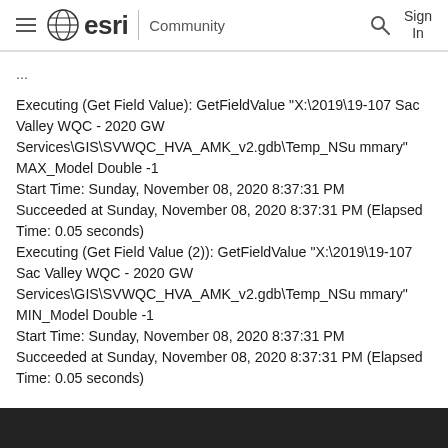esri Community
...

Executing (Get Field Value): GetFieldValue "X:\2019\19-107 Sac Valley WQC - 2020 GW Services\GIS\SVWQC_HVA_AMK_v2.gdb\Temp_NSummary" MAX_Model Double -1
Start Time: Sunday, November 08, 2020 8:37:31 PM
Succeeded at Sunday, November 08, 2020 8:37:31 PM (Elapsed Time: 0.05 seconds)
Executing (Get Field Value (2)): GetFieldValue "X:\2019\19-107 Sac Valley WQC - 2020 GW Services\GIS\SVWQC_HVA_AMK_v2.gdb\Temp_NSummary" MIN_Model Double -1
Start Time: Sunday, November 08, 2020 8:37:31 PM
Succeeded at Sunday, November 08, 2020 8:37:31 PM (Elapsed Time: 0.05 seconds)